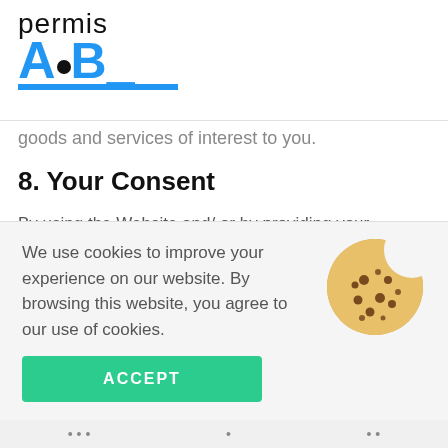[Figure (logo): Permis ABC logo with script text 'permis' above and stylized blue ABC letters with a dot and underline]
goods and services of interest to you.
8. Your Consent
By using the Website and/ or by providing your information, you consent to the collection and use of the information you disclose on the Website in accordance with this Privacy Policy, including but not limited to Your consent for sharing your information as per this privacy policy...
We use cookies to improve your experience on our website. By browsing this website, you agree to our use of cookies.
ACCEPT